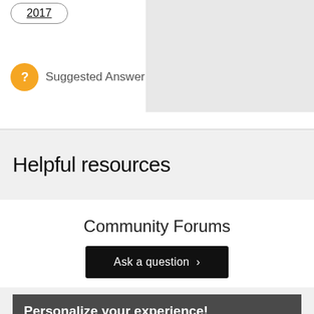2017
Suggested Answer
Helpful resources
Community Forums
Ask a question >
Personalize your experience!